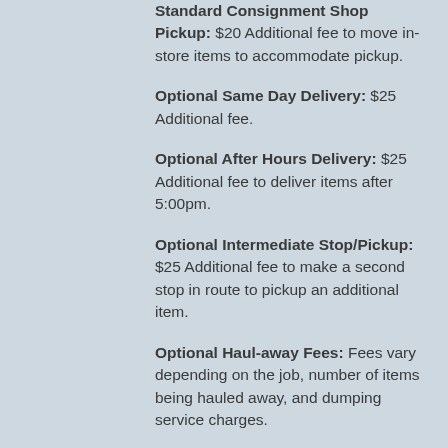Standard Consignment Shop Pickup: $20 Additional fee to move in-store items to accommodate pickup.
Optional Same Day Delivery: $25 Additional fee.
Optional After Hours Delivery: $25 Additional fee to deliver items after 5:00pm.
Optional Intermediate Stop/Pickup: $25 Additional fee to make a second stop in route to pickup an additional item.
Optional Haul-away Fees: Fees vary depending on the job, number of items being hauled away, and dumping service charges.
Optional In-house Moving Fee: Moving items to accommodate delivered items. Fee varies depending on scope of job and type of item(s) to be moved or